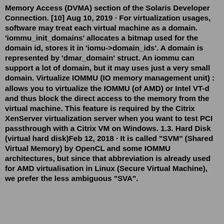Memory Access (DVMA) section of the Solaris Developer Connection. [10] Aug 10, 2019 · For virtualization usages, software may treat each virtual machine as a domain. 'iommu_init_domains' allocates a bitmap used for the domain id, stores it in 'iomu->domain_ids'. A domain is represented by 'dmar_domain' struct. An iommu can support a lot of domain, but it may uses just a very small domain. Virtualize IOMMU (IO memory management unit) : allows you to virtualize the IOMMU (of AMD) or Intel VT-d and thus block the direct access to the memory from the virtual machine. This feature is required by the Citrix XenServer virtualization server when you want to test PCI passthrough with a Citrix VM on Windows. 1.3. Hard Disk (virtual hard disk)Feb 12, 2018 · It is called "SVM" (Shared Virtual Memory) by OpenCL and some IOMMU architectures, but since that abbreviation is already used for AMD virtualisation in Linux (Secure Virtual Machine), we prefer the less ambiguous "SVA".